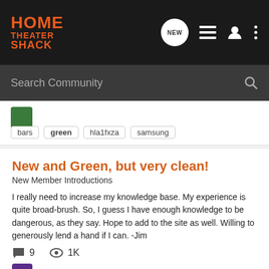[Figure (screenshot): Home Theater Shack community forum website screenshot showing navigation bar with logo, search bar, and forum post listings]
HOME THEATER SHACK
Search Community
bars  green  hla1fxza  samsung
New and Green, but very clean!
New Member Introductions
I really need to increase my knowledge base. My experience is quite broad-brush. So, I guess I have enough knowledge to be dangerous, as they say. Hope to add to the site as well. Willing to generously lend a hand if I can. -Jim
9  1K
BigJim97213 · Sep 10, 2014
clean  green